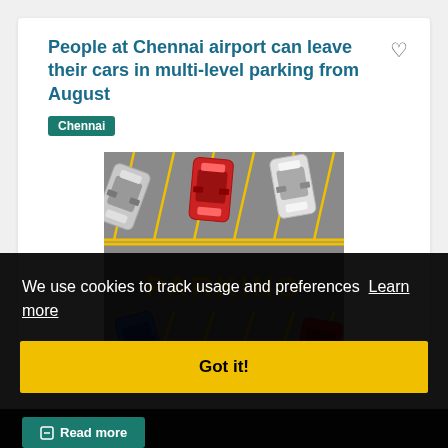People at Chennai airport can leave their cars in multi-level parking from August
Chennai
[Figure (photo): Top-down view illustration of cars parked in parking lot with the word PARKING written in yellow letters on grey surface]
We use cookies to track usage and preferences Learn more
Got it!
Read more